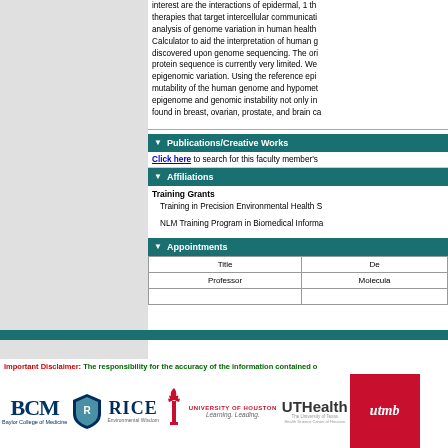interest are the interactions of epidermal growth factor receptor family members with therapies that target intercellular communication; computational and systems biology analysis of genome variation in human health and disease. We developed the Mutation Calculator to aid the interpretation of human genetic variants of uncertain significance discovered upon genome sequencing. The original understanding of the effect of an amino acid on protein sequence is currently very limited. We also study the role of genome organization and epigenomic variation. Using the reference epigenome, we have identified changes in the mutability of the human genome and hypomethylation of DNA. There is a link between the epigenome and genomic instability not only in cancer, but also in germline mutations found in breast, ovarian, prostate, and brain cancers.
Publications/Creative Works
Click here to search for this faculty member's
Affiliations
Training Grants
Training in Precision Environmental Health S
NLM Training Program in Biomedical Informa
Appointments
| Title | De |
| --- | --- |
| Professor | Molecula |
Important Disclaimer: The responsibility for the accuracy of the information contained o
[Figure (logo): BCM Baylor College of Medicine logo, Rice University logo, University of Houston logo, UTHealth logo, UTMB logo]